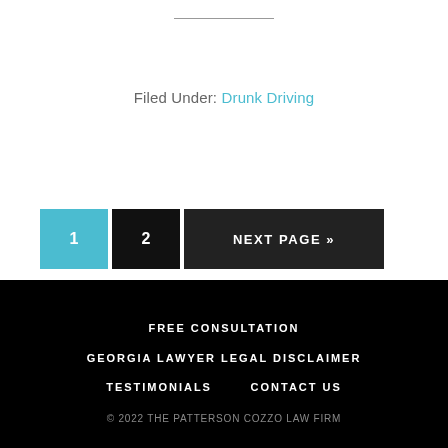Filed Under: Drunk Driving
1  2  NEXT PAGE »
FREE CONSULTATION  GEORGIA LAWYER LEGAL DISCLAIMER  TESTIMONIALS  CONTACT US  © 2022 THE PATTERSON COZZO LAW FIRM